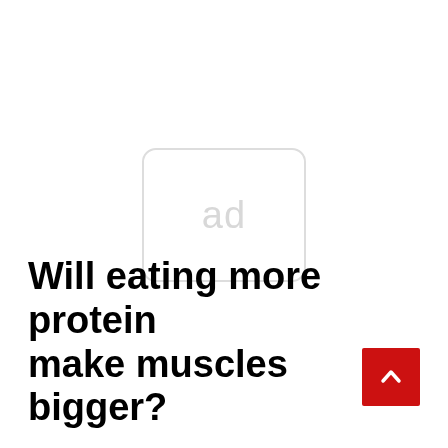[Figure (other): Advertisement placeholder icon: a rounded rectangle with the text 'ad' in light gray]
Will eating more protein make muscles bigger?